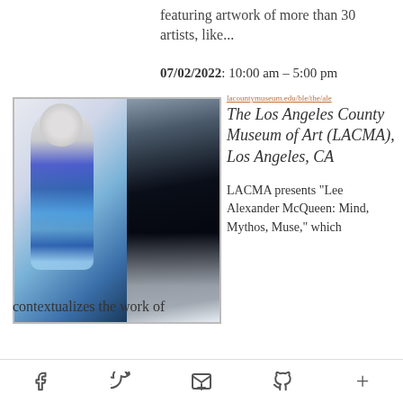featuring artwork of more than 30 artists, like...
07/02/2022: 10:00 am - 5:00 pm
[Figure (photo): Left side: mannequin wearing a blue and black McQueen dress with ornate belt. Right side: dark abstract painting with light area at bottom.]
lacountymuseum.edu/ble/the/ale
The Los Angeles County Museum of Art (LACMA), Los Angeles, CA
LACMA presents "Lee Alexander McQueen: Mind, Mythos, Muse," which contextualizes the work of